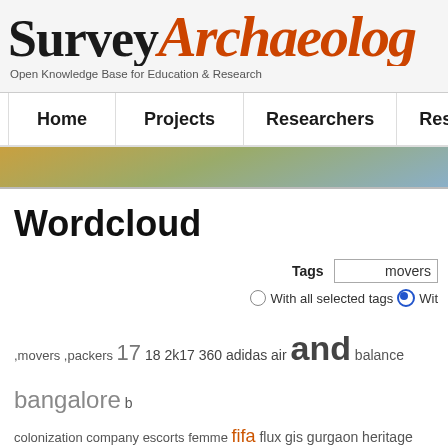Survey Archaeology – Open Knowledge Base for Education & Research
[Figure (screenshot): Website navigation bar with Home, Projects, Researchers, Resources menu items]
[Figure (photo): Hero banner photo of archaeological landscape – dry hills and sky]
Wordcloud
Tags: movers — With all selected tags / With [selected]
,movers ,packers 17 18 2k17 360 adidas air and balance bangalore b colonization company escorts femme fifa flux gis gurgaon heritage studies pc points ps3 ps4 pune smith statistics systematic xbox ZX
Sort: Alp…